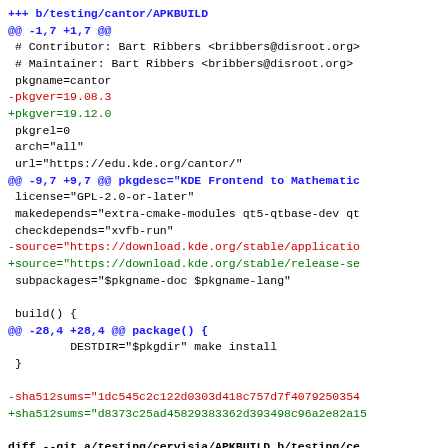+++ b/testing/cantor/APKBUILD
@@ -1,7 +1,7 @@
 # Contributor: Bart Ribbers <bribbers@disroot.org>
 # Maintainer: Bart Ribbers <bribbers@disroot.org>
 pkgname=cantor
-pkgver=19.08.3
+pkgver=19.12.0
 pkgrel=0
 arch="all"
 url="https://edu.kde.org/cantor/"
@@ -9,7 +9,7 @@ pkgdesc="KDE Frontend to Mathematic
 license="GPL-2.0-or-later"
 makedepends="extra-cmake-modules qt5-qtbase-dev qt
 checkdepends="xvfb-run"
-source="https://download.kde.org/stable/applicatio
+source="https://download.kde.org/stable/release-se
 subpackages="$pkgname-doc $pkgname-lang"

 build() {
@@ -28,4 +28,4 @@ package() {
         DESTDIR="$pkgdir" make install
 }

-sha512sums="1dc545c2c122d0303d418c757d7f4079250354
+sha512sums="d8373c25ad45829383362d393498c96a2e82a15

diff --git a/testing/cervisia/APKBUILD b/testing/ce
index f6336b4151..522c94fe6d 100644
--- a/testing/cervisia/APKBUILD
+++ b/testing/cervisia/APKBUILD